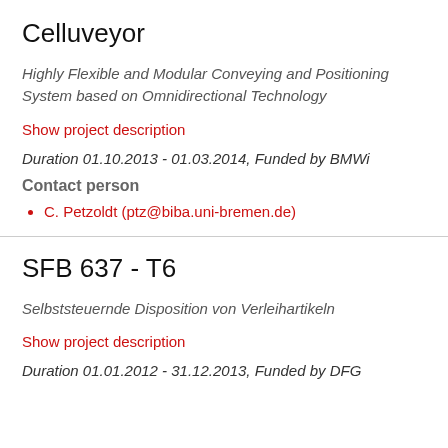Celluveyor
Highly Flexible and Modular Conveying and Positioning System based on Omnidirectional Technology
Show project description
Duration 01.10.2013 - 01.03.2014, Funded by BMWi
Contact person
C. Petzoldt (ptz@biba.uni-bremen.de)
SFB 637 - T6
Selbststeuernde Disposition von Verleihartikeln
Show project description
Duration 01.01.2012 - 31.12.2013, Funded by DFG